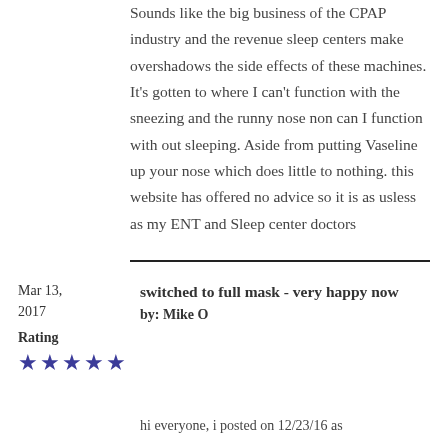Sounds like the big business of the CPAP industry and the revenue sleep centers make overshadows the side effects of these machines. It's gotten to where I can't function with the sneezing and the runny nose non can I function with out sleeping. Aside from putting Vaseline up your nose which does little to nothing. this website has offered no advice so it is as usless as my ENT and Sleep center doctors
Mar 13, 2017
switched to full mask - very happy now
by: Mike O
Rating ★★★★★
hi everyone, i posted on 12/23/16 as